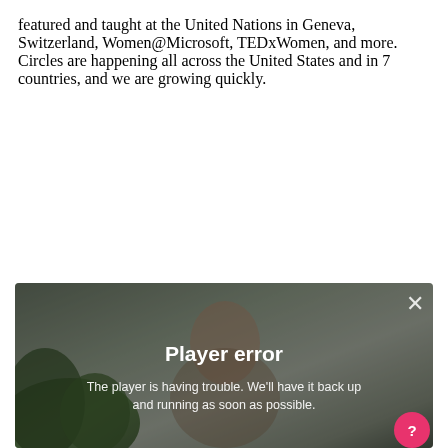featured and taught at the United Nations in Geneva, Switzerland, Women@Microsoft, TEDxWomen, and more. Circles are happening all across the United States and in 7 countries, and we are growing quickly.
[Figure (screenshot): Video player showing a woman outdoors with plants visible, displaying a 'Player error' overlay message. The error reads: 'Player error' and 'The player is having trouble. We'll have it back up and running as soon as possible.' A close (X) button is in the top right and a pink circular help button is in the bottom right corner.]